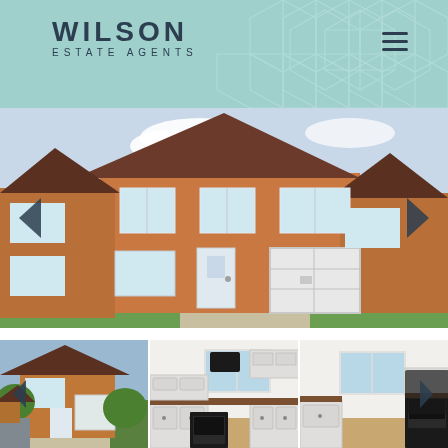[Figure (logo): Wilson Estate Agents logo with geometric teal hexagon pattern background header]
[Figure (photo): Main hero photo of a semi-detached brick house exterior with white garage door, green hedges, and tiled roof. Navigation left/right chevron arrows overlaid.]
[Figure (photo): Thumbnail 1: Side view of the same brick semi-detached house with garage, driveway, and hedges]
[Figure (photo): Thumbnail 2: Interior kitchen photo showing white fitted cabinets with wooden worktops, black appliances, and hardwood-style floor]
[Figure (photo): Thumbnail 3: Interior kitchen/utility room photo showing white fitted cabinets, wooden worktop, large window, and black appliance. Right-arrow navigation chevron overlaid.]